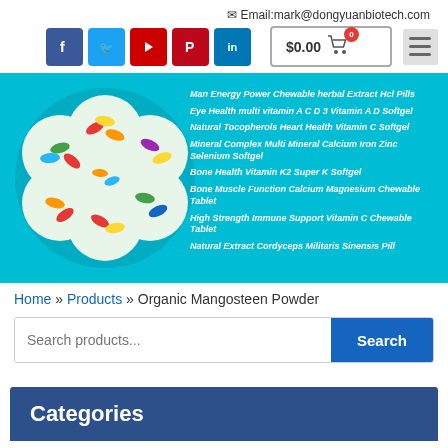Email:mark@dongyuanbiotech.com
[Figure (screenshot): Social media icon buttons: Facebook, Twitter, YouTube, Pinterest, LinkedIn. Cart button showing $0.00 with badge 0. Hamburger menu icon.]
[Figure (photo): Hero banner with cyan background showing a flower-shaped white tray with colorful capsules and pills, and a menu list of products in white italic text on the right side.]
Home » Products » Organic Mangosteen Powder
[Figure (screenshot): Search bar with placeholder 'Search products...' and a blue Search button.]
Categories